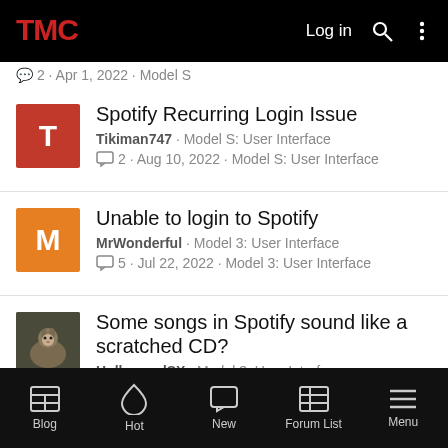TMC | Log in
2 · Apr 1, 2022 · Model S
Spotify Recurring Login Issue — Tikiman747 · Model S: User Interface — 2 · Aug 10, 2022 · Model S: User Interface
Unable to login to Spotify — MrWonderful · Model 3: User Interface — 5 · Jul 22, 2022 · Model 3: User Interface
Some songs in Spotify sound like a scratched CD? — HollywoodSX · Model 3: User Interface — 1 · Jul 20, 2022 · Model 3: User Interface
Products we're discussing on TMC...
Blog | Hot | New | Forum List | Menu